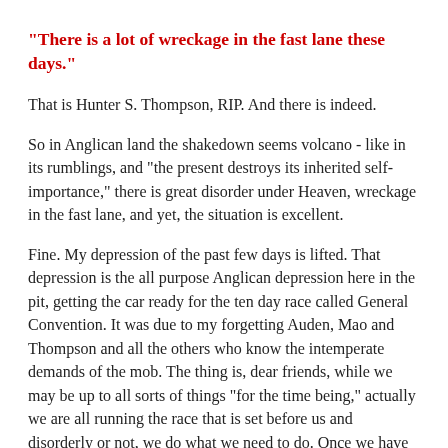“There is a lot of wreckage in the fast lane these days.”
That is Hunter S. Thompson, RIP. And there is indeed.
So in Anglican land the shakedown seems volcano - like in its rumblings, and "the present destroys its inherited self-importance," there is great disorder under Heaven, wreckage in the fast lane, and yet, the situation is excellent.
Fine. My depression of the past few days is lifted. That depression is the all purpose Anglican depression here in the pit, getting the car ready for the ten day race called General Convention. It was due to my forgetting Auden, Mao and Thompson and all the others who know the intemperate demands of the mob. The thing is, dear friends, while we may be up to all sorts of things "for the time being," actually we are all running the race that is set before us and disorderly or not, we do what we need to do. Once we have set our hand to the plow it is time to look forward, not back. Otherwise we miss the turn, miss the party, miss the point.
So time to get some little things straight: